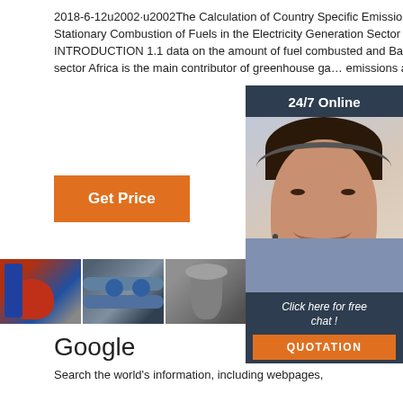2018-6-12u2002·u2002The Calculation of Country Specific Emission Factors for the Stationary Combustion of Fuels in the Electricity Generation Sector - South Africa 7 1. INTRODUCTION 1.1 data on the amount of fuel combusted and Background The energy sector Africa is the main contributor of greenhouse gas emissions and a key category
[Figure (infographic): Dark blue overlay with '24/7 Online' text and a customer service representative photo with headset, plus 'Click here for free chat!' text and an orange QUOTATION button]
Get Price
[Figure (photo): Row of industrial equipment photos: red/blue boiler, industrial pipes with valves, industrial tank/vessel, partial view of another industrial image]
Google
Search the world's information, including webpages,